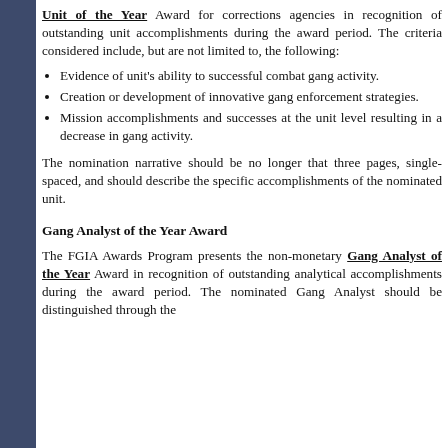Unit of the Year Award for corrections agencies in recognition of outstanding unit accomplishments during the award period. The criteria considered include, but are not limited to, the following:
Evidence of unit's ability to successful combat gang activity.
Creation or development of innovative gang enforcement strategies.
Mission accomplishments and successes at the unit level resulting in a decrease in gang activity.
The nomination narrative should be no longer that three pages, single-spaced, and should describe the specific accomplishments of the nominated unit.
Gang Analyst of the Year Award
The FGIA Awards Program presents the non-monetary Gang Analyst of the Year Award in recognition of outstanding analytical accomplishments during the award period. The nominated Gang Analyst should be distinguished through the